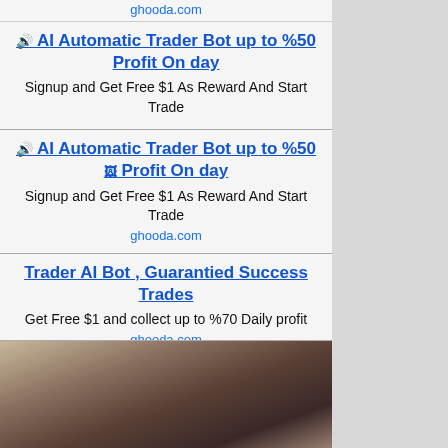ghooda.com
🔊 AI Automatic Trader Bot up to %50 Profit On day
Signup and Get Free $1 As Reward And Start Trade
🔊 AI Automatic Trader Bot up to %50 Profit On day
Signup and Get Free $1 As Reward And Start Trade
ghooda.com
Trader AI Bot , Guarantied Success Trades
Get Free $1 and collect up to %70 Daily profit
ghooda.com
Trader AI Bot , Guarantied Success Trades
Get Free $1 and collect up to %70 Daily profit
ghooda.com
[Figure (photo): Photo of a woman]